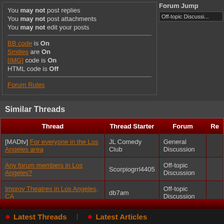You may not post replies
You may not post attachments
You may not edit your posts
BB code is On
Smilies are On
[IMG] code is On
HTML code is Off
Forum Rules
Forum Jump
Off-topic Discussion
Similar Threads
| Thread | Thread Starter | Forum | Re |
| --- | --- | --- | --- |
| [MADtv] For everyone in the Los Angeles area | JL Comedy Club | General Discussion |  |
| Any forum members in Los Angeles? | Scorpiogrrl4405 | Off-topic Discussion |  |
| Improv Theatres in Los Angeles, CA | db7am | Off-topic Discussion |  |
| Crazy People in Los Angeles | MADMADMAD | Off-topic Discussion |  |
| Happy 300 Tarzapam!! :P | jeremy | Off-topic Discussion |  |
All times are GMT -6. The time now is 10:19 PM.
Latest Threads    Latest Articles